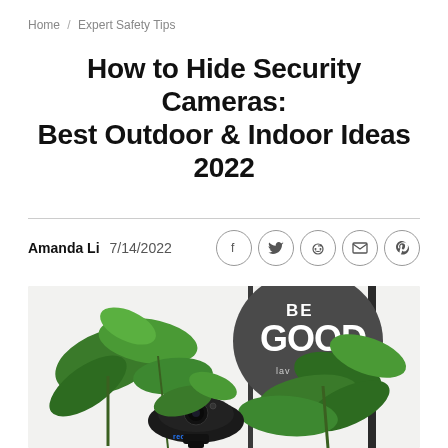Home / Expert Safety Tips
How to Hide Security Cameras: Best Outdoor & Indoor Ideas 2022
Amanda Li 7/14/2022
[Figure (photo): A security camera hidden among green indoor plants, with a 'BE GOOD' sign visible on the wall in the background. The camera brand appears to be Reolink.]